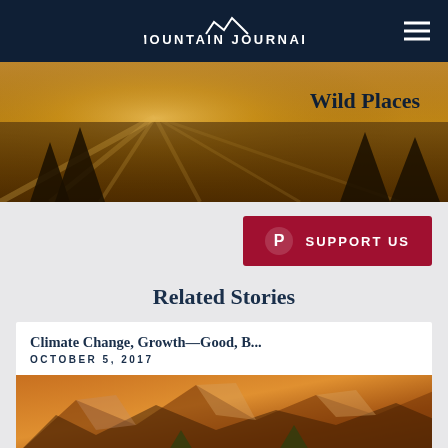Mountain Journal
[Figure (photo): Misty golden forest landscape with sunrays piercing through trees. Text overlay reads 'Wild Places' in dark navy.]
SUPPORT US
Related Stories
Climate Change, Growth—Good, B...
OCTOBER 5, 2017
[Figure (photo): Colorful rocky canyon landscape with warm orange and red tones, trees in the background.]